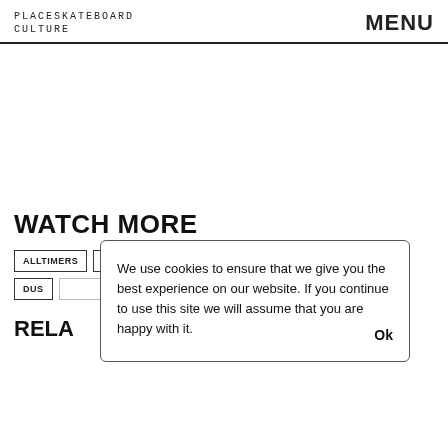PLACESKATEBOARD CULTURE   MENU
WATCH MORE
ALLTIMERS
BARCELONA
BEN BLUNDELL
CHARLES RIVARD
DUS...
RELA...
We use cookies to ensure that we give you the best experience on our website. If you continue to use this site we will assume that you are happy with it.   Ok